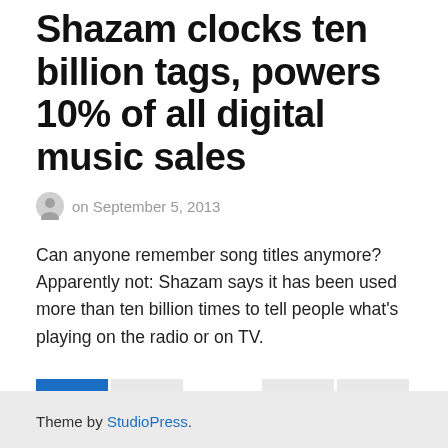Shazam clocks ten billion tags, powers 10% of all digital music sales
on September 5, 2013
Can anyone remember song titles anymore? Apparently not: Shazam says it has been used more than ten billion times to tell people what's playing on the radio or on TV.
Theme by StudioPress.